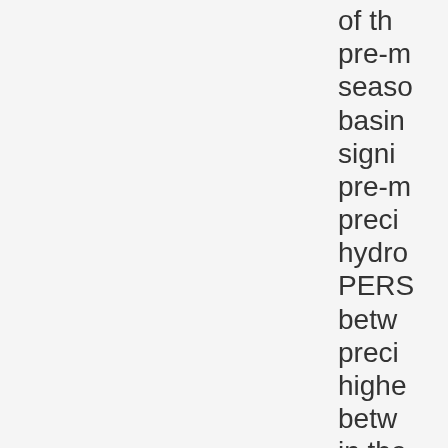of th pre-m seaso basin signi pre-m preci hydro PERS betw preci highe betw in the foun seaso Modi appli